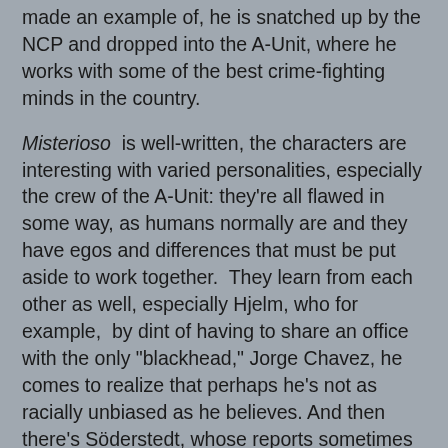made an example of, he is snatched up by the NCP and dropped into the A-Unit, where he works with some of the best crime-fighting minds in the country.
Misterioso is well-written, the characters are interesting with varied personalities, especially the crew of the A-Unit: they're all flawed in some way, as humans normally are and they have egos and differences that must be put aside to work together.  They learn from each other as well, especially Hjelm, who for example,  by dint of having to share an office with the only "blackhead," Jorge Chavez, he comes to realize that perhaps he's not as racially unbiased as he believes. And then there's Söderstedt, whose reports sometimes diverge into tangential revelations about the economic or political woes of the country á la Sjowall and Wahloo.  Sometimes the group members use less than savory methods to get what they want from suspects or from people they're interviewing -- the special weapon of the Unit's leader is a killer head butt -- and the members of the group often take advantage of their status as being higher in authority than everyone to get what they want. I don't know if I agree with that, but then again, the author could have made